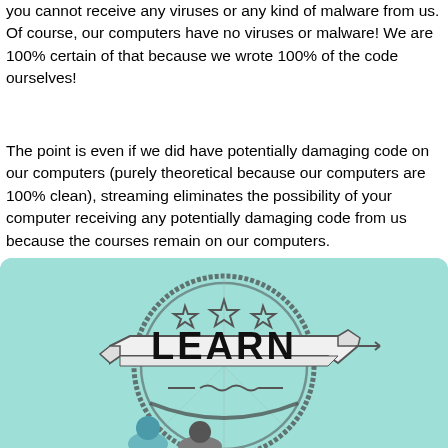you cannot receive any viruses or any kind of malware from us. Of course, our computers have no viruses or malware! We are 100% certain of that because we wrote 100% of the code ourselves!
The point is even if we did have potentially damaging code on our computers (purely theoretical because our computers are 100% clean), streaming eliminates the possibility of your computer receiving any potentially damaging code from us because the courses remain on our computers.
[Figure (illustration): Illustration on a teal/mint background featuring a circular stamp-like design with the word LEARN on a banner ribbon in bold black letters, three stars above the banner, decorative swirl elements below, and silhouettes of people at the bottom.]